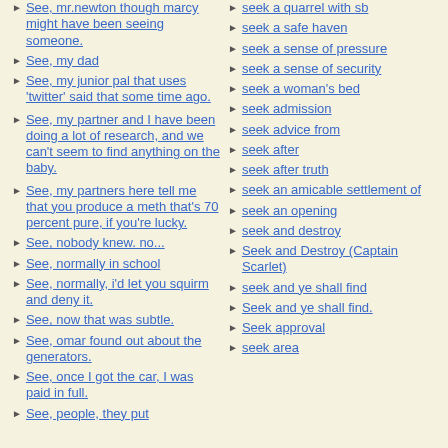See, mr.newton though marcy might have been seeing someone.
See, my dad
See, my junior pal that uses 'twitter' said that some time ago.
See, my partner and I have been doing a lot of research, and we can't seem to find anything on the baby.
See, my partners here tell me that you produce a meth that's 70 percent pure, if you're lucky.
See, nobody knew. no...
See, normally in school
See, normally, i'd let you squirm and deny it.
See, now that was subtle.
See, omar found out about the generators.
See, once I got the car, I was paid in full.
See, people, they put
seek a quarrel with sb
seek a safe haven
seek a sense of pressure
seek a sense of security
seek a woman's bed
seek admission
seek advice from
seek after
seek after truth
seek an amicable settlement of
seek an opening
seek and destroy
Seek and Destroy (Captain Scarlet)
seek and ye shall find
Seek and ye shall find.
Seek approval
seek area